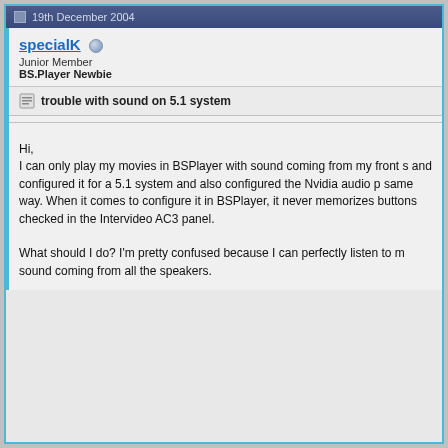19th December 2004
specialK
Junior Member
BS.Player Newbie
trouble with sound on 5.1 system
Hi,
I can only play my movies in BSPlayer with sound coming from my front s... and configured it for a 5.1 system and also configured the Nvidia audio p... same way. When it comes to configure it in BSPlayer, it never memorizes... buttons checked in the Intervideo AC3 panel.

What should I do? I'm pretty confused because I can perfectly listen to m... sound coming from all the speakers.